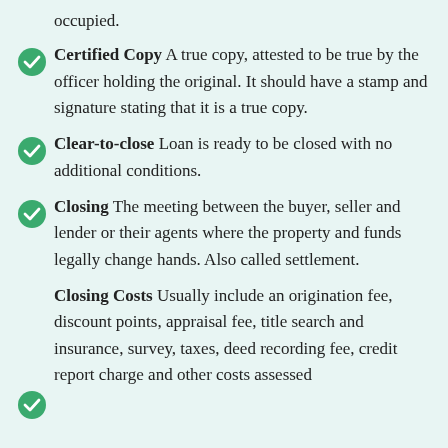occupied.
Certified Copy A true copy, attested to be true by the officer holding the original. It should have a stamp and signature stating that it is a true copy.
Clear-to-close Loan is ready to be closed with no additional conditions.
Closing The meeting between the buyer, seller and lender or their agents where the property and funds legally change hands. Also called settlement.
Closing Costs Usually include an origination fee, discount points, appraisal fee, title search and insurance, survey, taxes, deed recording fee, credit report charge and other costs assessed